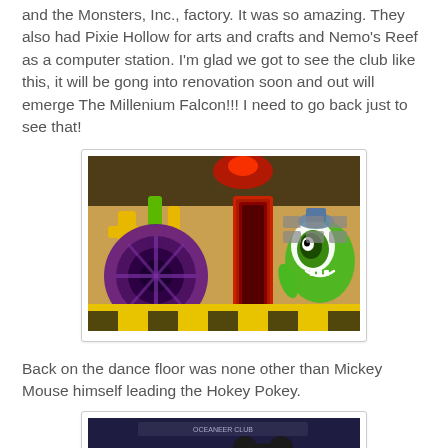and the Monsters, Inc., factory. It was so amazing. They also had Pixie Hollow for arts and crafts and Nemo's Reef as a computer station. I'm glad we got to see the club like this, it will be gong into renovation soon and out will emerge The Millenium Falcon!!! I need to go back just to see that!
[Figure (photo): Interior photo of a Monsters, Inc. themed play area on a Disney cruise ship, featuring colorful pipes, a large circular purple door, and a Mike Wazowski character figure on the right side.]
Back on the dance floor was none other than Mickey Mouse himself leading the Hokey Pokey.
[Figure (photo): Photo of Mickey Mouse character on a dance floor with children during a Hokey Pokey dance activity on a Disney cruise ship.]